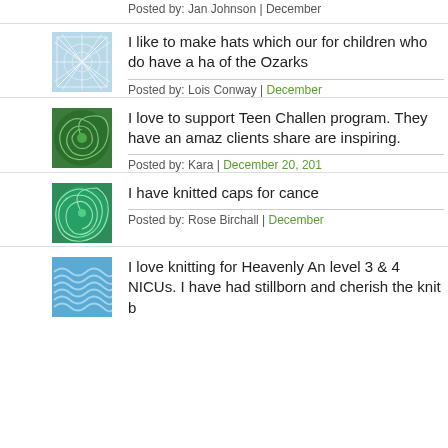Posted by: Jan Johnson | December
[Figure (illustration): Blue/white geometric web pattern avatar]
I like to make hats which our for children who do have a ha of the Ozarks
Posted by: Lois Conway | December
[Figure (illustration): Green spiral pattern avatar]
I love to support Teen Challen program. They have an amaz clients share are inspiring.
Posted by: Kara | December 20, 201
[Figure (illustration): Green swirl pattern avatar]
I have knitted caps for cance
Posted by: Rose Birchall | December
[Figure (illustration): Blue wave pattern avatar]
I love knitting for Heavenly An level 3 & 4 NICUs. I have had stillborn and cherish the knit b